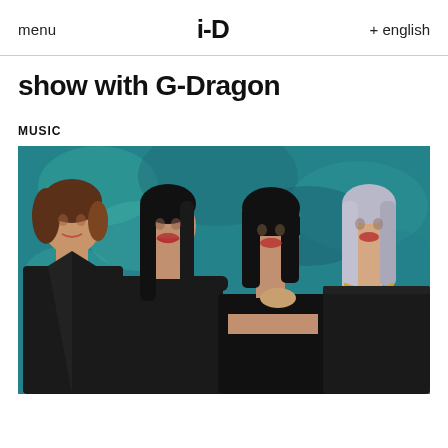menu  i-D  + english
show with G-Dragon
MUSIC
[Figure (photo): Four women dressed in black outfits posing in front of a teal/blue textured background. From left to right: a woman with brown hair in a blazer, a woman with black hair in an off-shoulder top, a woman with straight black hair and bangs in a black crop top, and a woman with silver/grey hair in a strapless top with a gold necklace.]